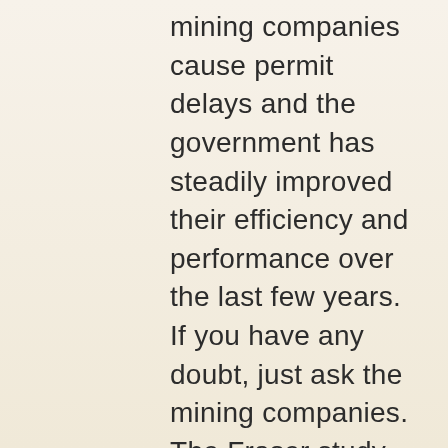mining companies cause permit delays and the government has steadily improved their efficiency and performance over the last few years. If you have any doubt, just ask the mining companies. The Fraser study does so annually, and every year, our nation remains among the best places to mine. Our process for including community input in permitting decisions works. Our government works. And the mining companies benefit greatly from everything we have provided them.